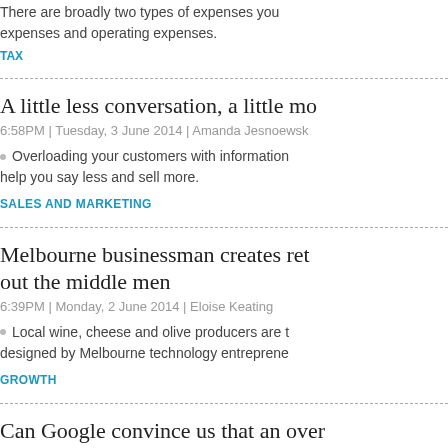There are broadly two types of expenses you… expenses and operating expenses.
TAX
A little less conversation, a little mo…
6:58PM | Tuesday, 3 June 2014 | Amanda Jesnoewsk…
Overloading your customers with information… help you say less and sell more.
SALES AND MARKETING
Melbourne businessman creates ret… out the middle men
6:39PM | Monday, 2 June 2014 | Eloise Keating
Local wine, cheese and olive producers are th… designed by Melbourne technology entreprene…
GROWTH
Can Google convince us that an over…
6:04PM | Monday, 2 June 2014 | Nathan Pollock
Google have recently shown us a car of sorts…